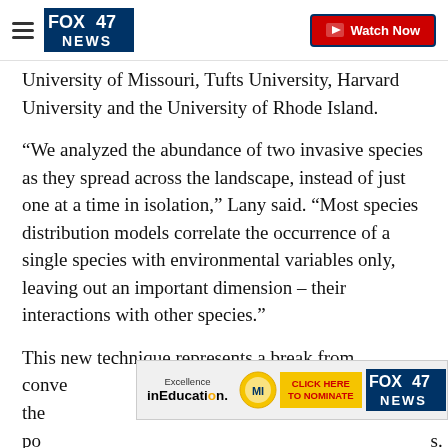FOX 47 NEWS | Watch Now
University of Missouri, Tufts University, Harvard University and the University of Rhode Island.
“We analyzed the abundance of two invasive species as they spread across the landscape, instead of just one at a time in isolation,” Lany said. “Most species distribution models correlate the occurrence of a single species with environmental variables only, leaving out an important dimension – their interactions with other species.”
This new technique represents a break from conve... has the po... s.
[Figure (infographic): Advertisement banner: Excellence in Education logo with Michigan Lottery ball icon, yellow 'CLICK HERE TO NOMINATE' button, and FOX 47 NEWS logo]